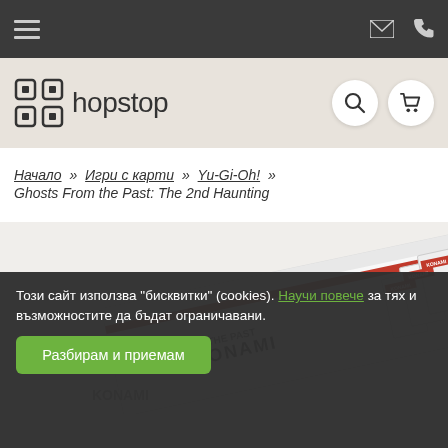hopstop navigation bar with hamburger menu, email and phone icons
[Figure (logo): Hopstop logo with building/grid icon and wordmark 'hopstop', with search and cart icon buttons]
Начало » Игри с карти » Yu-Gi-Oh! » Ghosts From the Past: The 2nd Haunting
[Figure (photo): Product photo of Yu-Gi-Oh! Ghosts From the Past: The 2nd Haunting booster box set by Konami, white box on white background showing multiple card packs]
Този сайт използва "бисквитки" (cookies). Научи повече за тях и възможностите да бъдат ограничавани.
Разбирам и приемам